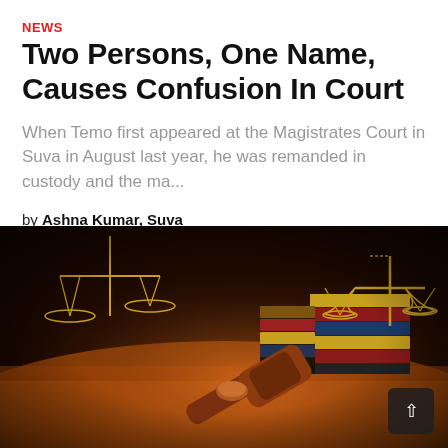NEWS
Two Persons, One Name, Causes Confusion In Court
When Temo first appeared at the Magistrates Court in Suva in August last year, he was remanded in custody and the ma...
by Ashna Kumar, Suva
[Figure (photo): A courtroom-themed photo showing a judge's gavel on a wooden surface, with the scales of justice and stacked law books in the background, lit with warm amber tones.]